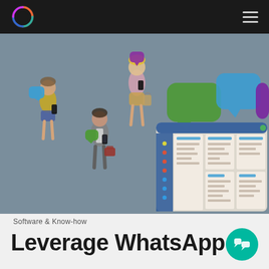Logo and navigation menu
[Figure (illustration): Hero illustration showing people using smartphones with colorful chat bubbles, alongside a UI dashboard/CRM interface with multiple panels and message threads, on a steel-blue background]
Software & Know-how
Leverage WhatsApp